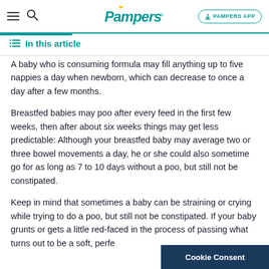Pampers — PAMPERS APP
In this article
A baby who is consuming formula may fill anything up to five nappies a day when newborn, which can decrease to once a day after a few months.
Breastfed babies may poo after every feed in the first few weeks, then after about six weeks things may get less predictable: Although your breastfed baby may average two or three bowel movements a day, he or she could also sometime go for as long as 7 to 10 days without a poo, but still not be constipated.
Keep in mind that sometimes a baby can be straining or crying while trying to do a poo, but still not be constipated. If your baby grunts or gets a little red-faced in the process of passing what turns out to be a soft, perfe
Cookie Consent